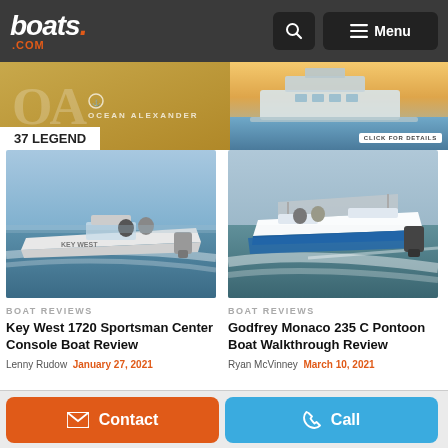boats.com | Menu
[Figure (photo): Advertisement banner for Ocean Alexander 37 Legend yacht with golden background and boat image]
[Figure (photo): Key West 1720 Sportsman center console boat speeding on water]
BOAT REVIEWS
Key West 1720 Sportsman Center Console Boat Review
Lenny Rudow  January 27, 2021
[Figure (photo): Godfrey Monaco 235 C Pontoon boat with blue trim on water]
BOAT REVIEWS
Godfrey Monaco 235 C Pontoon Boat Walkthrough Review
Ryan McVinney  March 10, 2021
Contact | Call